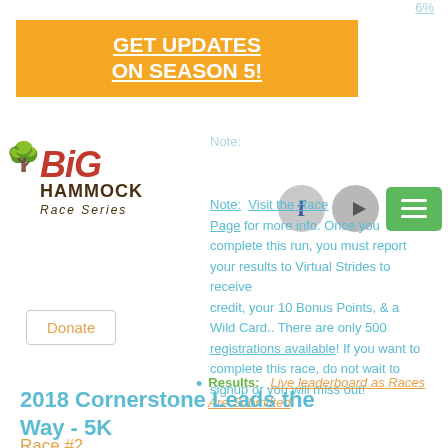[Figure (logo): Big Hammock Race Series logo with tree icon and red/brown text]
GET UPDATES ON SEASON 5!
[Figure (screenshot): Social media icons: Facebook, YouTube, and green hamburger menu button]
Note: Visit the Race Page for more info. Once you complete this run, you must report your results to Virtual Strides to receive credit, your 10 Bonus Points, & a Wild Card.. There are only 500 registrations available! If you want to complete this race, do not wait to signup or you will miss out!
Results: Live leaderboard as Races Are Submitted
Donate
2018 Cornerstone Leads the Way - 5K
Race #2